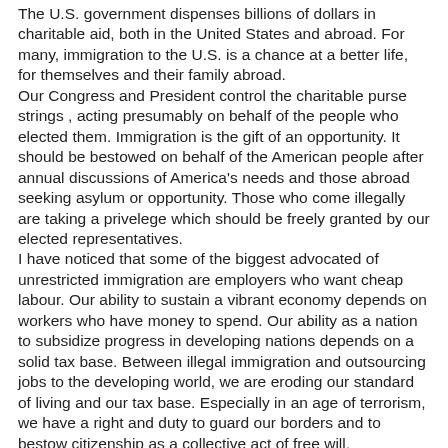The U.S. government dispenses billions of dollars in charitable aid, both in the United States and abroad. For many, immigration to the U.S. is a chance at a better life, for themselves and their family abroad. Our Congress and President control the charitable purse strings , acting presumably on behalf of the people who elected them. Immigration is the gift of an opportunity. It should be bestowed on behalf of the American people after annual discussions of America's needs and those abroad seeking asylum or opportunity. Those who come illegally are taking a privelege which should be freely granted by our elected representatives. I have noticed that some of the biggest advocated of unrestricted immigration are employers who want cheap labour. Our ability to sustain a vibrant economy depends on workers who have money to spend. Our ability as a nation to subsidize progress in developing nations depends on a solid tax base. Between illegal immigration and outsourcing jobs to the developing world, we are eroding our standard of living and our tax base. Especially in an age of terrorism, we have a right and duty to guard our borders and to bestow citizenship as a collective act of free will.